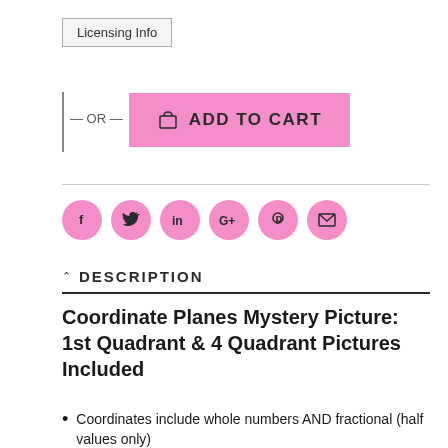Licensing Info
— OR — ADD TO CART
[Figure (infographic): Row of six pink circular social sharing icons: Facebook (f), Twitter (bird), LinkedIn (in), Google+ (G+), Pinterest (P), Email (envelope)]
DESCRIPTION
Coordinate Planes Mystery Picture: 1st Quadrant & 4 Quadrant Pictures Included
Coordinates include whole numbers AND fractional (half values only)